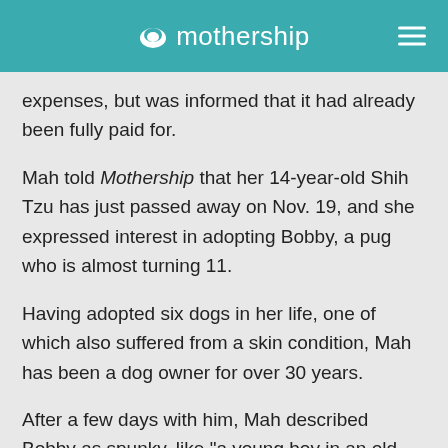mothership
expenses, but was informed that it had already been fully paid for.
Mah told Mothership that her 14-year-old Shih Tzu has just passed away on Nov. 19, and she expressed interest in adopting Bobby, a pug who is almost turning 11.
Having adopted six dogs in her life, one of which also suffered from a skin condition, Mah has been a dog owner for over 30 years.
After a few days with him, Mah described Bobby as spunky, like "a young boy in an old man's body".